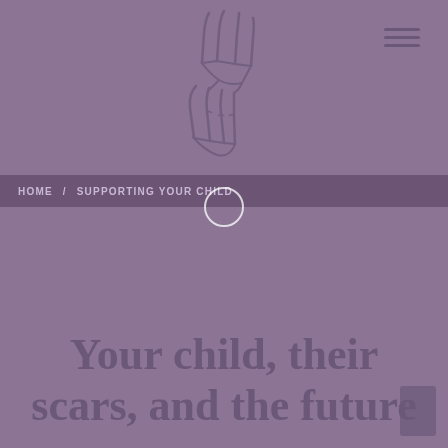[Figure (illustration): Line drawing illustration of two hands holding each other (adult and child hands intertwined) on a mauve/purple background]
HOME / SUPPORTING YOUR CHILD
[Figure (other): Small white circle/ring icon centered below the breadcrumb bar]
Your child, their scars, and the future